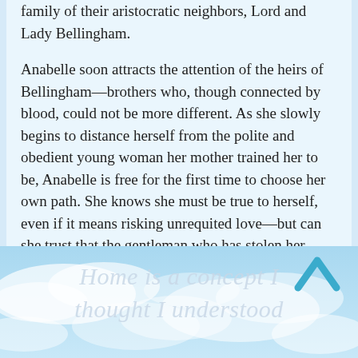family of their aristocratic neighbors, Lord and Lady Bellingham.
Anabelle soon attracts the attention of the heirs of Bellingham—brothers who, though connected by blood, could not be more different. As she slowly begins to distance herself from the polite and obedient young woman her mother trained her to be, Anabelle is free for the first time to choose her own path. She knows she must be true to herself, even if it means risking unrequited love—but can she trust that the gentleman who has stolen her heart will not break it?
[Figure (illustration): Blue sky with clouds background image with large italic text overlay reading 'Home is a concept I thought I understood' and a teal chevron/up-arrow icon in the top right corner.]